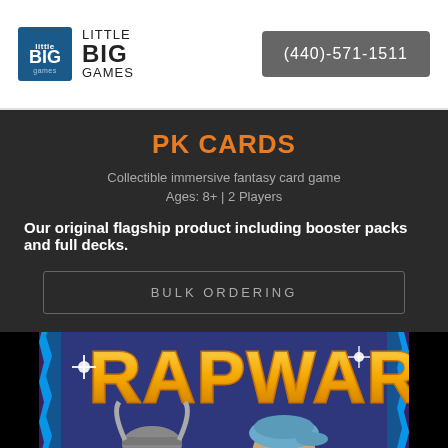LITTLE BIG GAMES | (440)-571-1511
PK CARDS
Collectible immersive fantasy card game
Ages: 8+ | 2 Players
Our original flagship product including booster packs and full decks.
BULK ORDERING
[Figure (illustration): Rap Wars game logo and characters — two cartoon rappers facing off against a graffiti-style 'RAP WARS' logo with blue jagged border background]